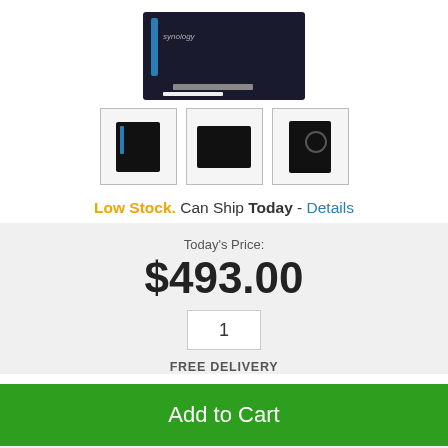[Figure (photo): Product images: main photo of Synology NAS device (black tower) at top, and three thumbnail views below showing front, side, and back angles.]
Low Stock. Can Ship Today - Details
Today's Price:
$493.00
1
FREE DELIVERY
Add to Cart
Estimated Delivery Time
| Au Hub ... | Nth Isl ... | Sth Isl ... |
| --- | --- | --- |